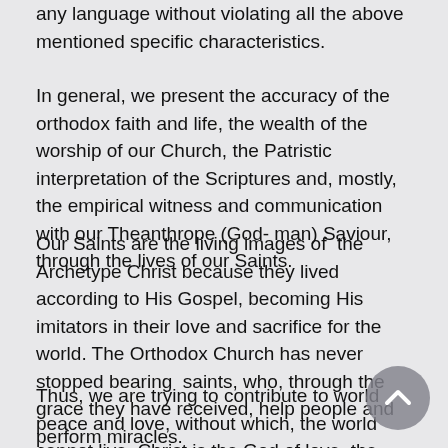any language without violating all the above mentioned specific characteristics.
In general, we present the accuracy of the orthodox faith and life, the wealth of the worship of our Church, the Patristic interpretation of the Scriptures and, mostly, the empirical witness and communication with our Theanthrope (God- man) Saviour, through the lives of our Saints.
Our Saints are the living images of the Archetype Christ because they lived according to His Gospel, becoming His imitators in their love and sacrifice for the world. The Orthodox Church has never stopped bearing saints, who, through the grace they have received, help people and perform miracles.
Thus, we are trying to contribute to world peace and love, without which, the world cannot live. Christ is the God of love, the light, the revealed truth, the life of men and the